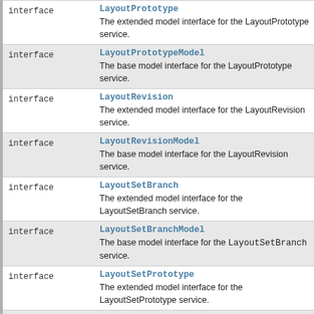|  |  |
| --- | --- |
| interface | LayoutPrototype
The extended model interface for the LayoutPrototype service. |
| interface | LayoutPrototypeModel
The base model interface for the LayoutPrototype service. |
| interface | LayoutRevision
The extended model interface for the LayoutRevision service. |
| interface | LayoutRevisionModel
The base model interface for the LayoutRevision service. |
| interface | LayoutSetBranch
The extended model interface for the LayoutSetBranch service. |
| interface | LayoutSetBranchModel
The base model interface for the LayoutSetBranch service. |
| interface | LayoutSetPrototype
The extended model interface for the LayoutSetPrototype service. |
| interface | LayoutSetPrototypeModel
The base model interface for the LayoutSetPrototype service. |
| interface | Organization
The extended model interface for the Organization service. |